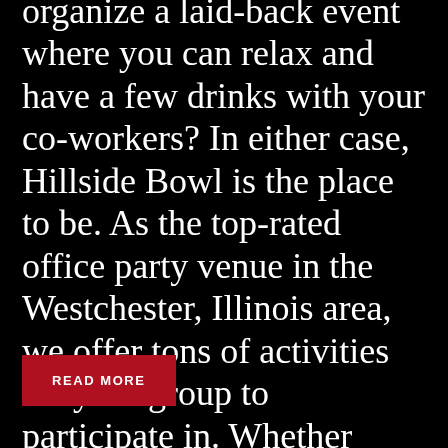organize a laid-back event where you can relax and have a few drinks with your co-workers? In either case, Hillside Bowl is the place to be. As the top-rated office party venue in the Westchester, Illinois area, we offer tons of activities for your group to participate in. Whether you're looking for a lively experience or just a laid-back good time, we have you covered. Read below to learn all about our facility.
READ MORE